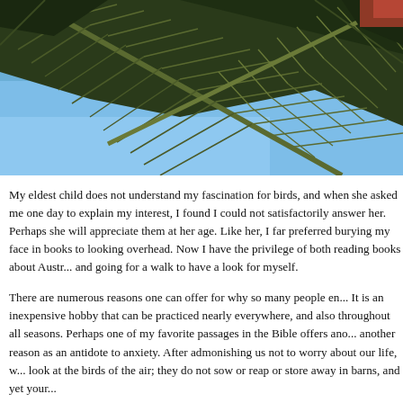[Figure (photo): Close-up photograph of palm fronds against a blue sky, taken from below looking upward. The fronds fill the upper portion of the image with green/olive coloring, and a clear blue sky is visible in the lower portion.]
My eldest child does not understand my fascination for birds, and when she asked me one day to explain my interest, I found I could not satisfactorily answer her. Perhaps she will appreciate them at her age. Like her, I far preferred burying my face in books to looking overhead. Now I have the privilege of both reading books about Austr... and going for a walk to have a look for myself.
There are numerous reasons one can offer for why so many people enjoy birds. It is an inexpensive hobby that can be practiced nearly everywhere, and also throughout all seasons. Perhaps one of my favorite passages in the Bible offers another reason — as an antidote to anxiety. After admonishing us not to worry about our life, w... look at the birds of the air; they do not sow or reap or store away in barns, and yet your...